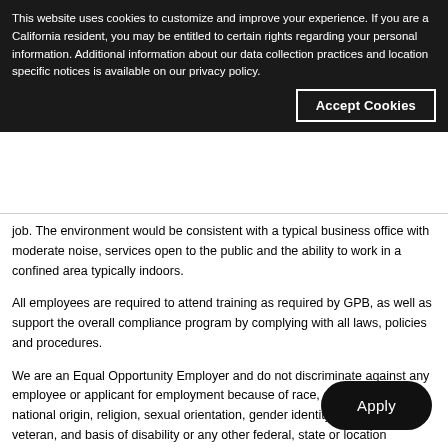This website uses cookies to customize and improve your experience. If you are a California resident, you may be entitled to certain rights regarding your personal information. Additional information about our data collection practices and location specific notices is available on our privacy policy.
Accept Cookies
job. The environment would be consistent with a typical business office with moderate noise, services open to the public and the ability to work in a confined area typically indoors.
All employees are required to attend training as required by GPB, as well as support the overall compliance program by complying with all laws, policies and procedures.
We are an Equal Opportunity Employer and do not discriminate against any employee or applicant for employment because of race, color, sex, age, national origin, religion, sexual orientation, gender identity, status as a veteran, and basis of disability or any other federal, state or location protected class.
Apply